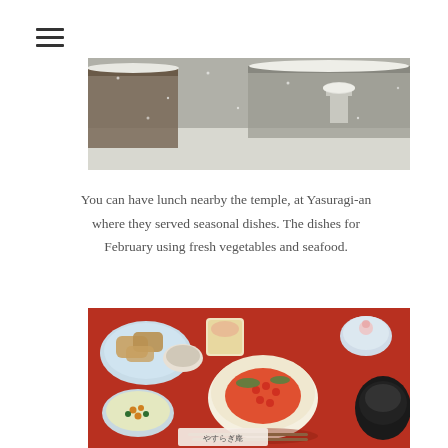[Figure (photo): Snowy Japanese temple garden scene, top portion of page]
You can have lunch nearby the temple, at Yasuragi-an where they served seasonal dishes. The dishes for February using fresh vegetables and seafood.
[Figure (photo): Japanese seasonal dishes on a red tray including a donburi bowl with salmon and ikura, tempura, and various small side dishes]